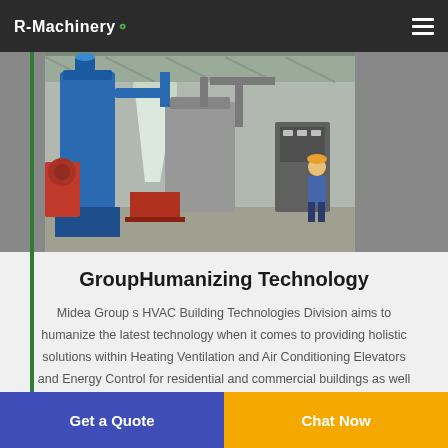R-Machinery
[Figure (photo): Industrial machinery in a factory setting — large blue dust collector tower, white hopper/cyclone, red fan unit, metal ducting, and a worker in hard hat standing near control panel]
GroupHumanizing Technology
Midea Group s HVAC Building Technologies Division aims to humanize the latest technology when it comes to providing holistic solutions within Heating Ventilation and Air Conditioning Elevators and Energy Control for residential and commercial buildings as well as other public facilities.
Get a Quote
Chat Now